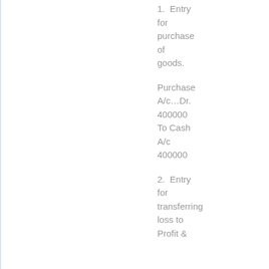1.  Entry for purchase of goods.
Purchase A/c...Dr. 400000
To Cash A/c 400000
2.  Entry for transferring loss to Profit &